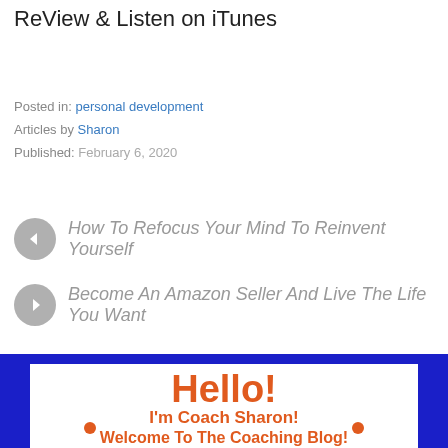ReView & Listen on iTunes
Posted in: personal development
Articles by Sharon
Published: February 6, 2020
← How To Refocus Your Mind To Reinvent Yourself
→ Become An Amazon Seller And Live The Life You Want
[Figure (illustration): Blue bordered banner with white background showing 'Hello! I'm Coach Sharon! Welcome To The Coaching Blog!' in orange text with orange dot decorations]